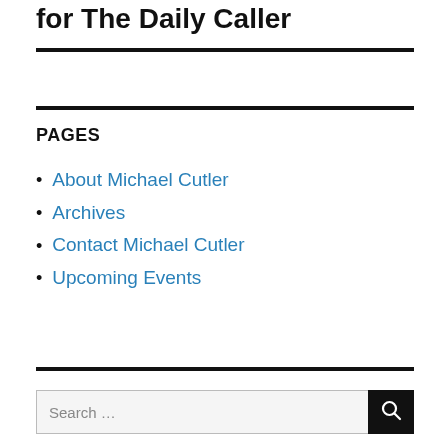for The Daily Caller
PAGES
About Michael Cutler
Archives
Contact Michael Cutler
Upcoming Events
Search ...